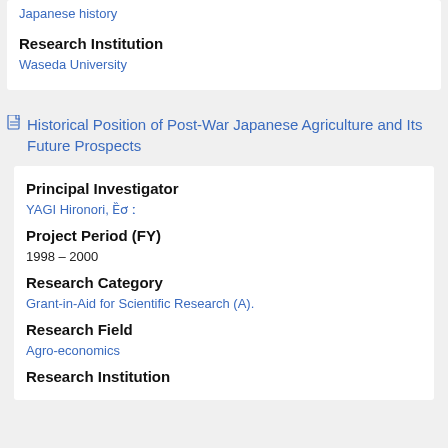Research Institution
Waseda University
Historical Position of Post-War Japanese Agriculture and Its Future Prospects
Principal Investigator
YAGI Hironori, 八木 宏
Project Period (FY)
1998 – 2000
Research Category
Grant-in-Aid for Scientific Research (A).
Research Field
Agro-economics
Research Institution